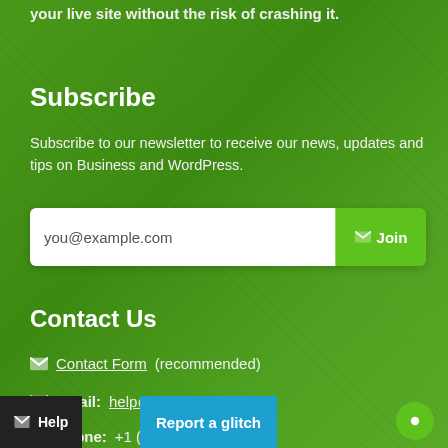your live site without the risk of crashing it.
Subscribe
Subscribe to our newsletter to receive our news, updates and tips on Business and WordPress.
[Figure (other): Email subscription form with input placeholder 'you@example.com' and a green 'Join' button with envelope icon]
Contact Us
Contact Form (recommended)
Email: help@qsandbox.com
Phone: +1 (647)-478-... (email)
Help
Report a glitch